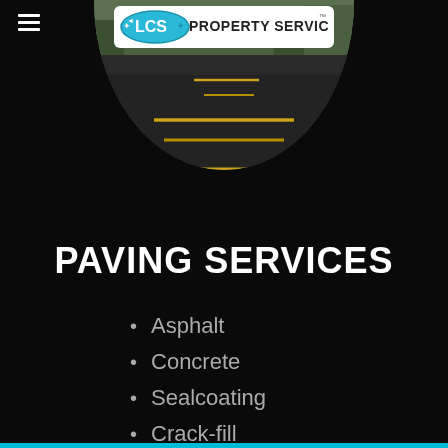LCS Property Services
[Figure (photo): Circular cropped photo of a freshly paved dark asphalt parking lot with bright yellow line striping, trees visible in background]
PAVING SERVICES
Asphalt
Concrete
Sealcoating
Crack-fill
Line Striping
Curb Painting
And MORE...